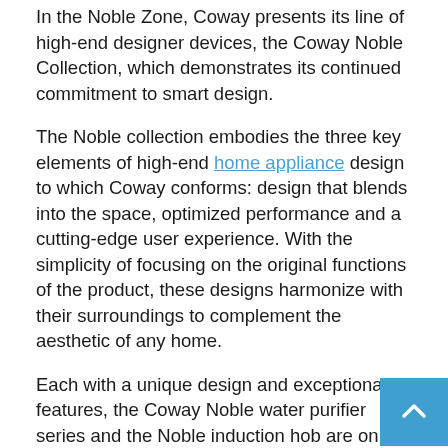In the Noble Zone, Coway presents its line of high-end designer devices, the Coway Noble Collection, which demonstrates its continued commitment to smart design.
The Noble collection embodies the three key elements of high-end home appliance design to which Coway conforms: design that blends into the space, optimized performance and a cutting-edge user experience. With the simplicity of focusing on the original functions of the product, these designs harmonize with their surroundings to complement the aesthetic of any home.
Each with a unique design and exceptional features, the Coway Noble water purifier series and the Noble induction hob are on display in the kitchen area. The stylish and compact air purifier and humidifier are also featured in the Noble Zone living space.
Artistically designed air purifiers for interior design
The Coway AP-1019C (AirmÃ©ga 150 in the United States), the